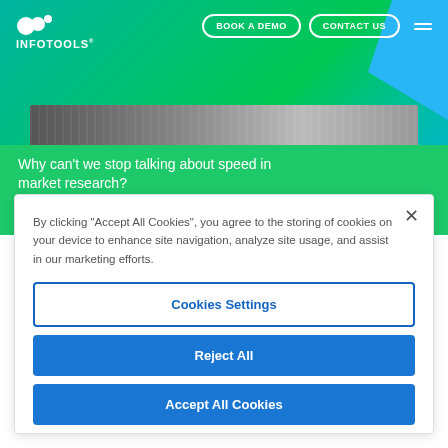[Figure (screenshot): InfoTools website header with logo, navigation buttons (Book a Demo, Contact Us), hamburger menu, a photo strip, and a green card with article title 'Why can't we stop talking about speed in market research?' and date '13 months ago']
By clicking "Accept All Cookies", you agree to the storing of cookies on your device to enhance site navigation, analyze site usage, and assist in our marketing efforts.
Cookies Settings
Reject All
Accept All Cookies